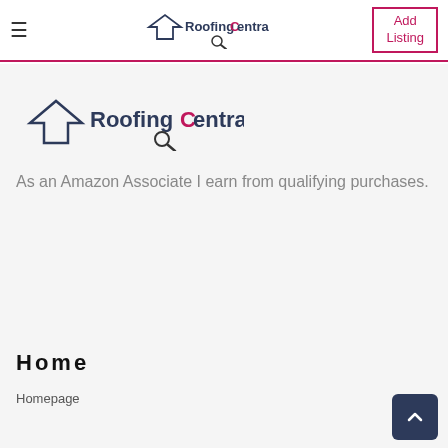RoofingCentral.co.uk — Add Listing
[Figure (logo): RoofingCentral.co.uk logo with house icon and magnifying glass]
As an Amazon Associate I earn from qualifying purchases.
Home
Homepage